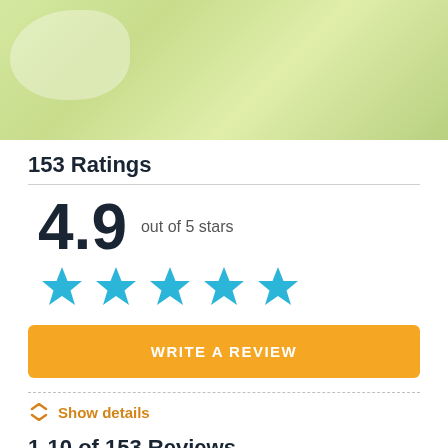[Figure (photo): Light green watercolor banner background with a white blob/cloud shape in the top left area]
153 Ratings
4.9 out of 5 stars
[Figure (infographic): Five cyan/blue star rating icons displayed in a row]
WRITE A REVIEW
Show details
1-10 of 153 Reviews